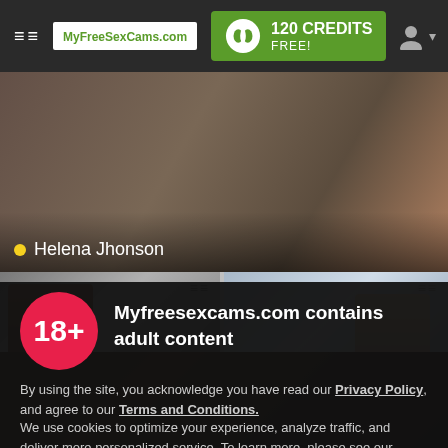[Figure (screenshot): Website navigation bar with hamburger menu, MyFreeSexCams.com logo, 120 CREDITS FREE green button with token icon, and user profile icon]
[Figure (photo): Blurred adult content background image, hero area with Helena Jhonson label and yellow online dot]
[Figure (screenshot): Two video thumbnail previews side by side with hamburger menu icons]
[Figure (infographic): 18+ age gate modal overlay with red circle 18+ icon, adult content warning, privacy policy links, cookie notice, and green I AGREE button]